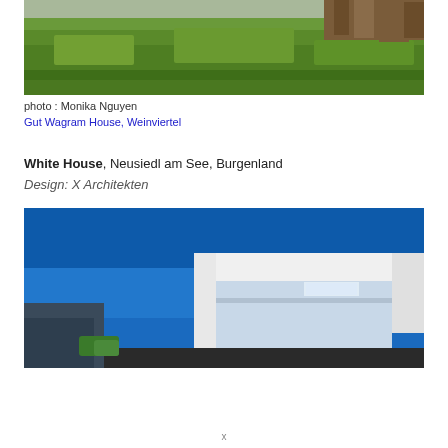[Figure (photo): Aerial or ground-level photo of a grassy lawn area with what appears to be a wooden structure or sculpture in the background, partially cropped at the top of the page.]
photo : Monika Nguyen
Gut Wagram House, Weinviertel
White House, Neusiedl am See, Burgenland
Design: X Architekten
[Figure (photo): Exterior photo of a modern white house (White House) against a bright blue sky, showing a rectangular white frame or overhang with glass walls, with green bushes and another building visible at the left.]
x